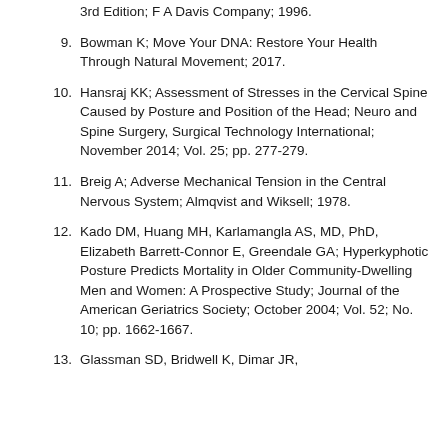3rd Edition; F A Davis Company; 1996.
9. Bowman K; Move Your DNA: Restore Your Health Through Natural Movement; 2017.
10. Hansraj KK; Assessment of Stresses in the Cervical Spine Caused by Posture and Position of the Head; Neuro and Spine Surgery, Surgical Technology International; November 2014; Vol. 25; pp. 277-279.
11. Breig A; Adverse Mechanical Tension in the Central Nervous System; Almqvist and Wiksell; 1978.
12. Kado DM, Huang MH, Karlamangla AS, MD, PhD, Elizabeth Barrett-Connor E, Greendale GA; Hyperkyphotic Posture Predicts Mortality in Older Community-Dwelling Men and Women: A Prospective Study; Journal of the American Geriatrics Society; October 2004; Vol. 52; No. 10; pp. 1662-1667.
13. Glassman SD, Bridwell K, Dimar JR,